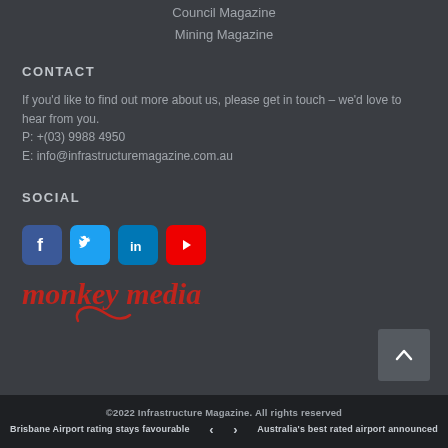Council Magazine
Mining Magazine
CONTACT
If you'd like to find out more about us, please get in touch – we'd love to hear from you.
P: +(03) 9988 4950
E: info@infrastructuremagazine.com.au
SOCIAL
[Figure (other): Social media icons: Facebook, Twitter, LinkedIn, YouTube]
[Figure (logo): Monkey Media logo in red italic serif font with decorative curl]
©2022 Infrastructure Magazine. All rights reserved
Brisbane Airport rating stays favourable   <   >   Australia's best rated airport announced